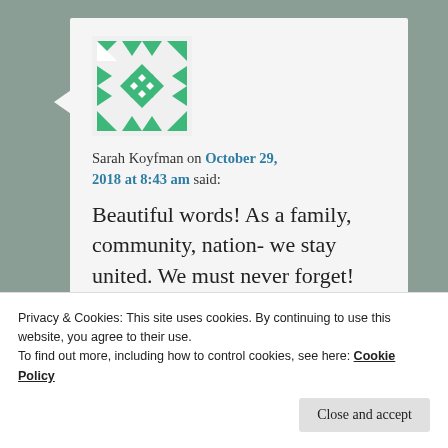[Figure (logo): Green geometric quilt-pattern avatar icon with diamond and arrow shapes arranged symmetrically]
Sarah Koyfman on October 29, 2018 at 8:43 am said:
Beautiful words! As a family, community, nation- we stay united. We must never forget!
Privacy & Cookies: This site uses cookies. By continuing to use this website, you agree to their use.
To find out more, including how to control cookies, see here: Cookie Policy